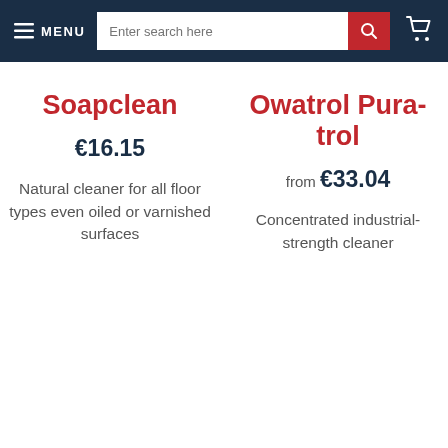MENU  |  Enter search here
Soapclean
€16.15
Natural cleaner for all floor types even oiled or varnished surfaces
Owatrol Pura-trol
from €33.04
Concentrated industrial-strength cleaner